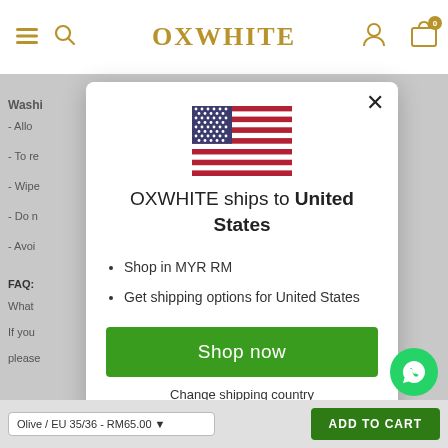OXWHITE
Washing instructions (partially visible behind modal)
[Figure (screenshot): Modal dialog showing OXWHITE ships to United States with US flag, bullet points about MYR RM shopping and shipping options, Shop now button, and Change shipping country link]
OXWHITE ships to United States
Shop in MYR RM
Get shipping options for United States
Shop now
Change shipping country